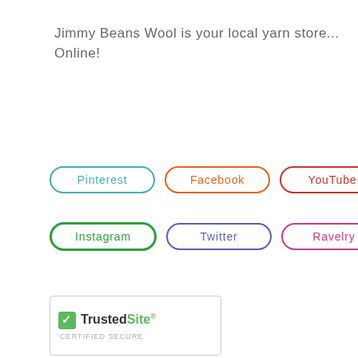Jimmy Beans Wool is your local yarn store... Online!
[Figure (other): Row of social media buttons: Pinterest (teal outline), Facebook (orange outline), YouTube (red outline)]
[Figure (other): Row of social media buttons: Instagram (green outline), Twitter (purple outline), Ravelry (pink outline)]
[Figure (logo): TrustedSite Certified Secure badge with green checkmark]
[Figure (logo): BBB Accredited Business badge, teal background]
Contact Us   Frequently Asked Questions